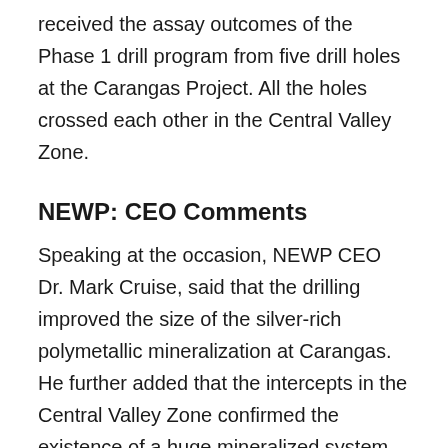received the assay outcomes of the Phase 1 drill program from five drill holes at the Carangas Project. All the holes crossed each other in the Central Valley Zone.
NEWP: CEO Comments
Speaking at the occasion, NEWP CEO Dr. Mark Cruise, said that the drilling improved the size of the silver-rich polymetallic mineralization at Carangas. He further added that the intercepts in the Central Valley Zone confirmed the existence of a huge mineralized system.
NEWP: Key Financial...